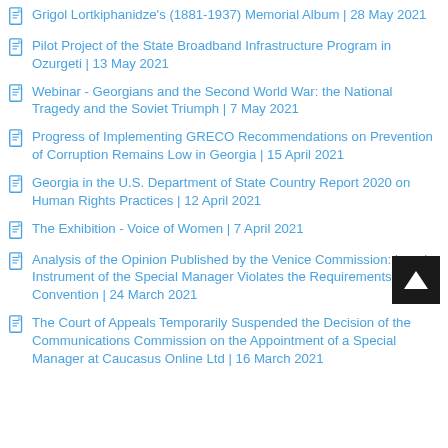Grigol Lortkiphanidze's (1881-1937) Memorial Album  |  28 May 2021
Pilot Project of the State Broadband Infrastructure Program in Ozurgeti  |  13 May 2021
Webinar - Georgians and the Second World War: the National Tragedy and the Soviet Triumph  |  7 May 2021
Progress of Implementing GRECO Recommendations on Prevention of Corruption Remains Low in Georgia  |  15 April 2021
Georgia in the U.S. Department of State Country Report 2020 on Human Rights Practices  |  12 April 2021
The Exhibition - Voice of Women  |  7 April 2021
Analysis of the Opinion Published by the Venice Commission: Legal Instrument of the Special Manager Violates the Requirements of the Convention  |  24 March 2021
The Court of Appeals Temporarily Suspended the Decision of the Communications Commission on the Appointment of a Special Manager at Caucasus Online Ltd  |  16 March 2021